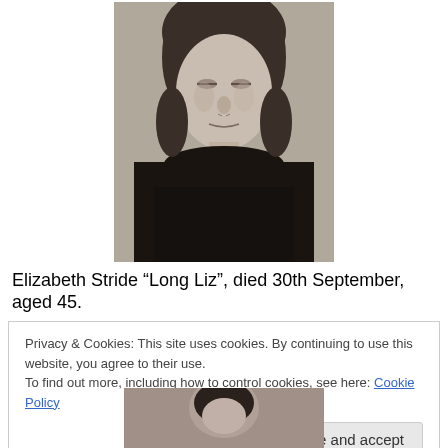[Figure (photo): Black and white mortuary photograph of Elizabeth Stride, a historical figure, showing head and upper torso against a light background.]
Elizabeth Stride “Long Liz”, died 30th September, aged 45.
Privacy & Cookies: This site uses cookies. By continuing to use this website, you agree to their use.
To find out more, including how to control cookies, see here: Cookie Policy
Close and accept
[Figure (photo): Partial black and white photograph of another historical figure, partially visible at the bottom of the page.]